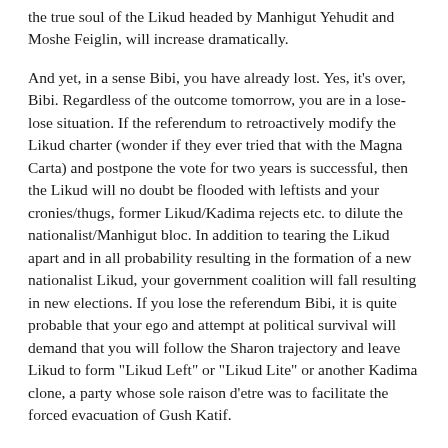the true soul of the Likud headed by Manhigut Yehudit and Moshe Feiglin, will increase dramatically.
And yet, in a sense Bibi, you have already lost. Yes, it's over, Bibi. Regardless of the outcome tomorrow, you are in a lose-lose situation. If the referendum to retroactively modify the Likud charter (wonder if they ever tried that with the Magna Carta) and postpone the vote for two years is successful, then the Likud will no doubt be flooded with leftists and your cronies/thugs, former Likud/Kadima rejects etc. to dilute the nationalist/Manhigut bloc. In addition to tearing the Likud apart and in all probability resulting in the formation of a new nationalist Likud, your government coalition will fall resulting in new elections. If you lose the referendum Bibi, it is quite probable that your ego and attempt at political survival will demand that you will follow the Sharon trajectory and leave Likud to form "Likud Left" or "Likud Lite" or another Kadima clone, a party whose sole raison d'etre was to facilitate the forced evacuation of Gush Katif.
The parallels are ominous Bibi as your secret dealings with and groveling to the unholy trinity of Obama/Biden/Clinton have once again exposed you for the Likud poseur that you are, and for your